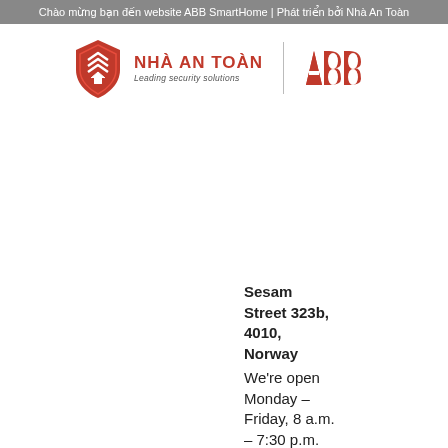Chào mừng bạn đến website ABB SmartHome | Phát triển bởi Nhà An Toàn
[Figure (logo): Nhà An Toàn logo with red shield icon and text 'NHÀ AN TOÀN Leading security solutions', alongside ABB red logo]
Sesam Street 323b, 4010, Norway
We're open Monday – Friday, 8 a.m. – 7:30 p.m. EST